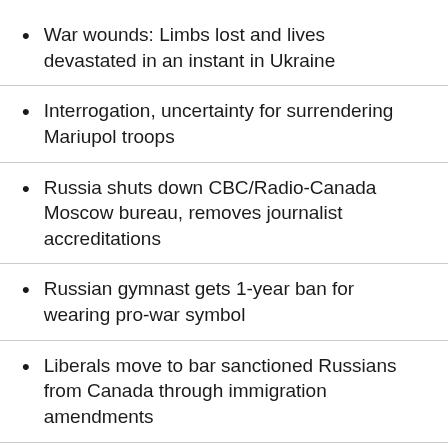War wounds: Limbs lost and lives devastated in an instant in Ukraine
Interrogation, uncertainty for surrendering Mariupol troops
Russia shuts down CBC/Radio-Canada Moscow bureau, removes journalist accreditations
Russian gymnast gets 1-year ban for wearing pro-war symbol
Liberals move to bar sanctioned Russians from Canada through immigration amendments
Next steps for Finland, Sweden on NATO membership